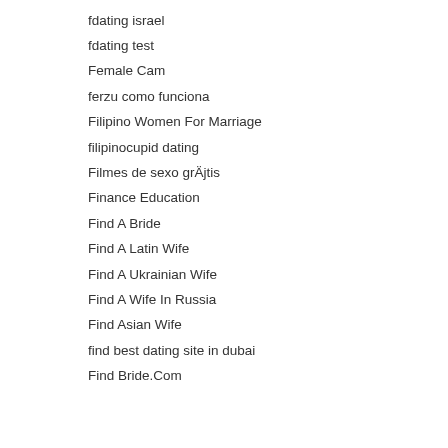fdating israel
fdating test
Female Cam
ferzu como funciona
Filipino Women For Marriage
filipinocupid dating
Filmes de sexo grátis
Finance Education
Find A Bride
Find A Latin Wife
Find A Ukrainian Wife
Find A Wife In Russia
Find Asian Wife
find best dating site in dubai
Find Bride.Com